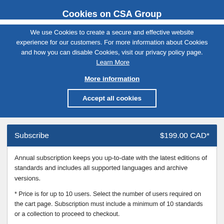Cookies on CSA Group
We use Cookies to create a secure and effective website experience for our customers. For more information about Cookies and how you can disable Cookies, visit our privacy policy page. Learn More
More information
Accept all cookies
Subscribe	$199.00 CAD*
Annual subscription keeps you up-to-date with the latest editions of standards and includes all supported languages and archive versions.
* Price is for up to 10 users. Select the number of users required on the cart page. Subscription must include a minimum of 10 standards or a collection to proceed to checkout.